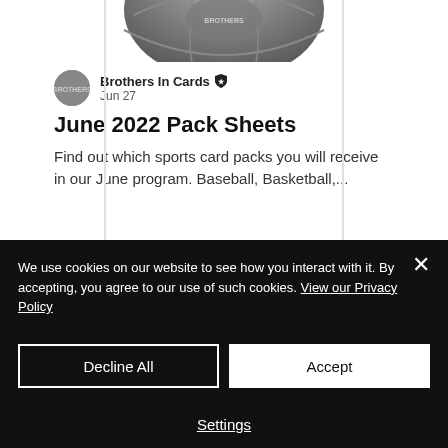[Figure (photo): Partial basketball image cropped at top of page]
Brothers In Cards ★ Jun 27
June 2022 Pack Sheets
Find out which sports card packs you will receive in our June program. Baseball, Basketball,...
We use cookies on our website to see how you interact with it. By accepting, you agree to our use of such cookies. View our Privacy Policy
Decline All
Accept
Settings